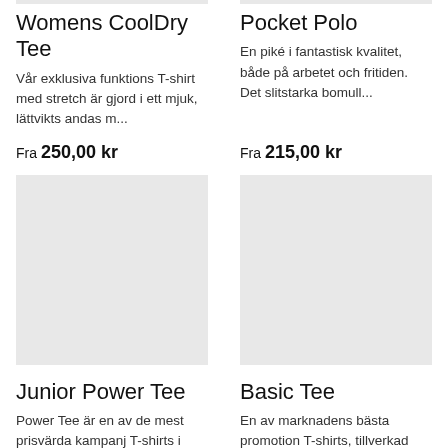[Figure (photo): Light gray placeholder image for Womens CoolDry Tee product (top, partial)]
Womens CoolDry Tee
Vår exklusiva funktions T-shirt med stretch är gjord i ett mjuk, lättvikts andas m...
Fra 250,00 kr
[Figure (photo): Light gray placeholder image for Pocket Polo product (top, partial)]
Pocket Polo
En piké i fantastisk kvalitet, både på arbetet och fritiden. Det slitstarka bomull...
Fra 215,00 kr
[Figure (photo): Light gray placeholder image for Junior Power Tee product]
Junior Power Tee
Power Tee är en av de mest prisvärda kampanj T-shirts i
[Figure (photo): Light gray placeholder image for Basic Tee product]
Basic Tee
En av marknadens bästa promotion T-shirts, tillverkad